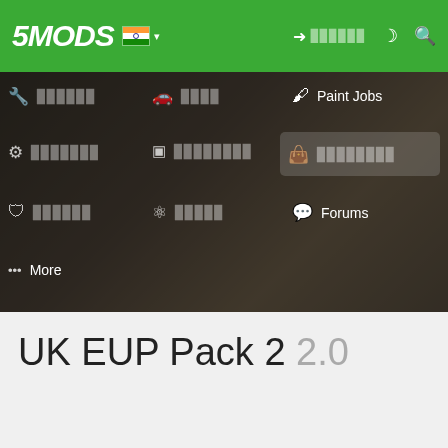5MODS navigation header with logo, flag icon, login, and search
[Figure (screenshot): Navigation dropdown menu overlay on a blurred dark background photo showing a person. Menu has three columns with nav items: column 1: tools icon (blurred text), settings icon (blurred text), shield icon (blurred text), more icon 'More'; column 2: car icon (blurred text), code icon (blurred text), atom icon (blurred text); column 3: paint brush 'Paint Jobs', bag icon (blurred text highlighted), speech bubble 'Forums']
UK EUP Pack 2 2.0